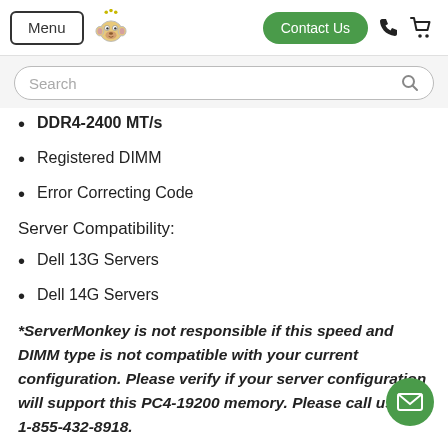Menu | [Monkey Logo] | Contact Us | Phone | Cart
Search
DDR4-2400 MT/s
Registered DIMM
Error Correcting Code
Server Compatibility:
Dell 13G Servers
Dell 14G Servers
*ServerMonkey is not responsible if this speed and DIMM type is not compatible with your current configuration. Please verify if your server configuration will support this PC4-19200 memory. Please call us at 1-855-432-8918.
Warranty Information: